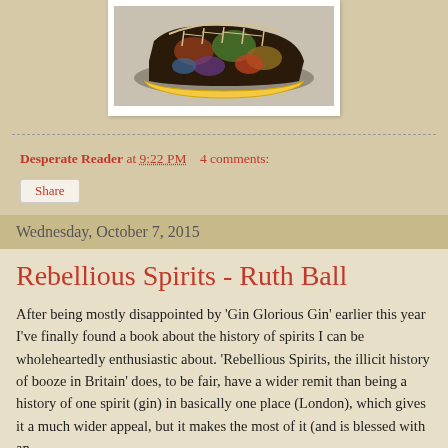[Figure (photo): Photo of a decorative Dr. Martens boot with colorful printed design, shown on a light background, displayed in a white photo frame]
Desperate Reader at 9:22 PM    4 comments:
Share
Wednesday, October 7, 2015
Rebellious Spirits - Ruth Ball
After being mostly disappointed by 'Gin Glorious Gin' earlier this year I've finally found a book about the history of spirits I can be wholeheartedly enthusiastic about. 'Rebellious Spirits, the illicit history of booze in Britain' does, to be fair, have a wider remit than being a history of one spirit (gin) in basically one place (London), which gives it a much wider appeal, but it makes the most of it (and is blessed with an